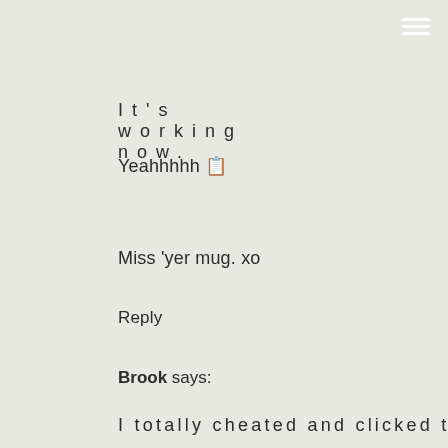It's working now.
Yeahhhhh 🎉
Miss 'yer mug. xo
Reply
Brook says:
I totally cheated and clicked to